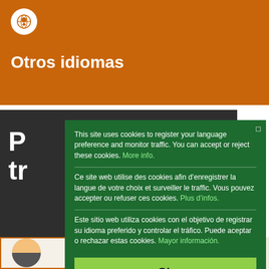[Figure (screenshot): Orange header bar with white globe/location icon and white bold title text 'Otros idiomas']
Otros idiomas
[Figure (screenshot): Dark gray background panel partially visible with large white letters 'P' and 'tr' visible]
[Figure (screenshot): Cookie consent modal popup with dark green background containing multilingual cookie notice in English, French, and Spanish, and a green 'Ok' button]
This site uses cookies to register your language preference and monitor traffic. You can accept or reject these cookies. More info.
Ce site web utilise des cookies afin d’enregistrer la langue de votre choix et surveiller le traffic. Vous pouvez accepter ou refuser ces cookies. Plus d’infos.
Este sitio web utiliza cookies con el objetivo de registrar su idioma preferido y controlar el tráfico. Puede aceptar o rechazar estas cookies. Mayor información.
Ok
[Figure (illustration): Partial avatar illustration and podcast text visible at the bottom of the page]